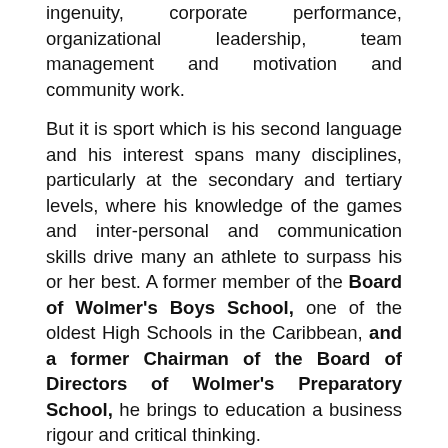ingenuity, corporate performance, organizational leadership, team management and motivation and community work.
But it is sport which is his second language and his interest spans many disciplines, particularly at the secondary and tertiary levels, where his knowledge of the games and inter-personal and communication skills drive many an athlete to surpass his or her best. A former member of the Board of Wolmer's Boys School, one of the oldest High Schools in the Caribbean, and a former Chairman of the Board of Directors of Wolmer's Preparatory School, he brings to education a business rigour and critical thinking.
The former Chief Executive Officer of Jamaica's Tastee Limited and a Director on several private and public sector boards, Ryan was also a former Director of the Port Authority of Jamaica (PAJ) and the Creative Production Training Limited (CPTC). Ryan's commitment to the development of the youth, particularly through sport and